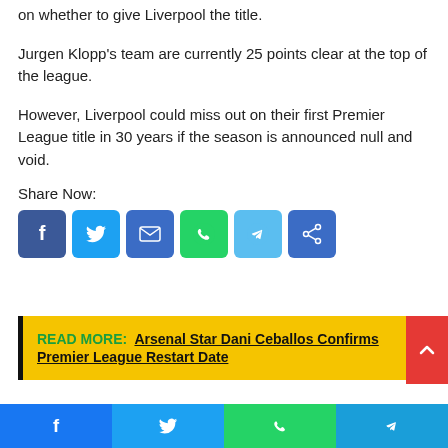on whether to give Liverpool the title.
Jurgen Klopp's team are currently 25 points clear at the top of the league.
However, Liverpool could miss out on their first Premier League title in 30 years if the season is announced null and void.
Share Now:
[Figure (infographic): Social share buttons: Facebook, Twitter, Email, WhatsApp, Telegram, Share]
READ MORE: Arsenal Star Dani Ceballos Confirms Premier League Restart Date
[Figure (infographic): Bottom social bar with Facebook, Twitter, WhatsApp, Telegram icons]